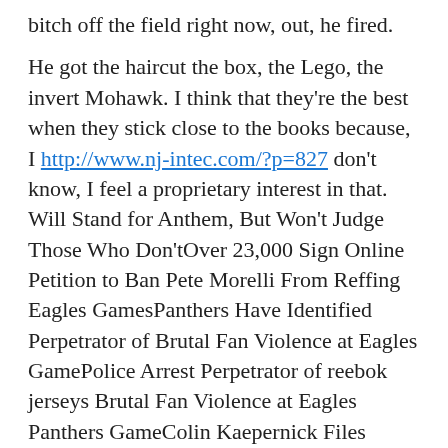bitch off the field right now, out, he fired.
He got the haircut the box, the Lego, the invert Mohawk. I think that they're the best when they stick close to the books because, I http://www.nj-intec.com/?p=827 don't know, I feel a proprietary interest in that. Will Stand for Anthem, But Won't Judge Those Who Don'tOver 23,000 Sign Online Petition to Ban Pete Morelli From Reffing Eagles GamesPanthers Have Identified Perpetrator of Brutal Fan Violence at Eagles GamePolice Arrest Perpetrator of reebok jerseys Brutal Fan Violence at Eagles Panthers GameColin Kaepernick Files Grievance Against NFLPackers' QB Aaron Rodgers Could Miss Rest of Season With Broken CollarbonePanthers Have Identified Perpetrator of Brutal Fan Violence at Eagles GameNFL Players' Union Unhappy With Jerry Jones' National Anthem CommentsSources: Jorge Velandia Emerges as Strong Candidate for Phillies Manager...